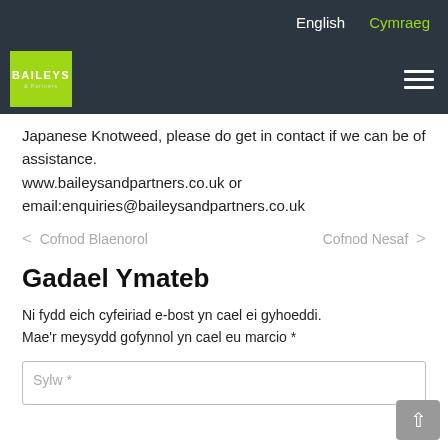English  Cymraeg
[Figure (logo): Baileys & Partners logo on dark background with hamburger menu icon]
Japanese Knotweed, please do get in contact if we can be of assistance. www.baileysandpartners.co.uk or email:enquiries@baileysandpartners.co.uk
< Cofnod Blaenorol    Cofnod Nesaf >
Gadael Ymateb
Ni fydd eich cyfeiriad e-bost yn cael ei gyhoeddi. Mae'r meysydd gofynnol yn cael eu marcio *
Sylw *